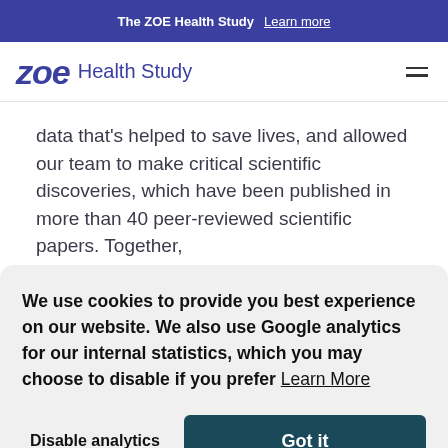The ZOE Health Study  Learn more
zoe Health Study
data that’s helped to save lives, and allowed our team to make critical scientific discoveries, which have been published in more than 40 peer-reviewed scientific papers. Together,
We use cookies to provide you best experience on our website. We also use Google analytics for our internal statistics, which you may choose to disable if you prefer  Learn More
updates in the works at the moment, including